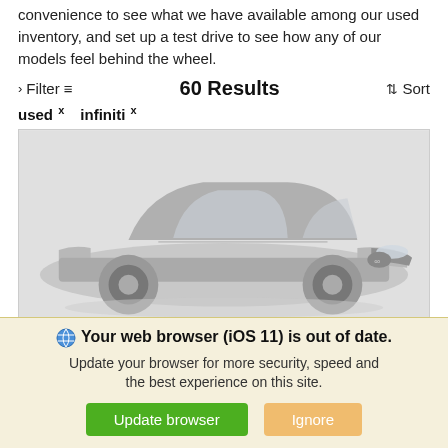convenience to see what we have available among our used inventory, and set up a test drive to see how any of our models feel behind the wheel.
> Filter  60 Results  ⇅ Sort
used × infiniti ×
[Figure (photo): A dark grey Infiniti sedan shown in a 3/4 front view, displayed inside a card with a light grey background. The image appears faded/muted.]
🌐 Your web browser (iOS 11) is out of date. Update your browser for more security, speed and the best experience on this site.
Update browser   Ignore